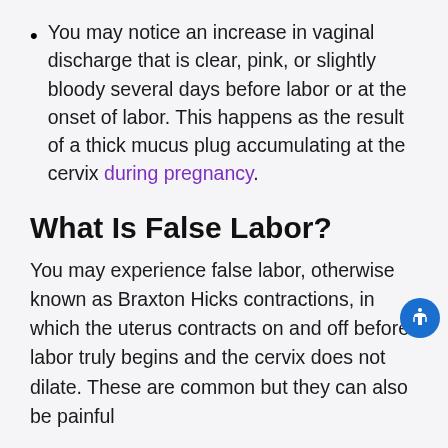You may notice an increase in vaginal discharge that is clear, pink, or slightly bloody several days before labor or at the onset of labor. This happens as the result of a thick mucus plug accumulating at the cervix during pregnancy.
What Is False Labor?
You may experience false labor, otherwise known as Braxton Hicks contractions, in which the uterus contracts on and off before labor truly begins and the cervix does not dilate. These are common but they can also be painful